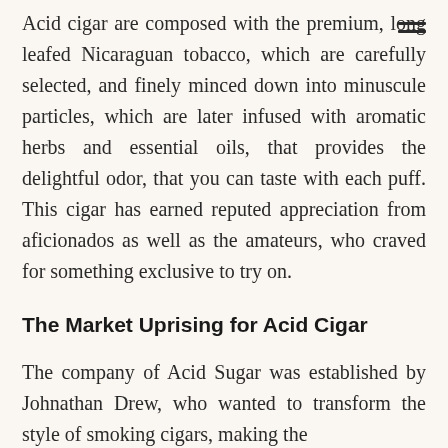Acid cigar are composed with the premium, long leafed Nicaraguan tobacco, which are carefully selected, and finely minced down into minuscule particles, which are later infused with aromatic herbs and essential oils, that provides the delightful odor, that you can taste with each puff. This cigar has earned reputed appreciation from aficionados as well as the amateurs, who craved for something exclusive to try on.
The Market Uprising for Acid Cigar
The company of Acid Sugar was established by Johnathan Drew, who wanted to transform the style of smoking cigars, making the